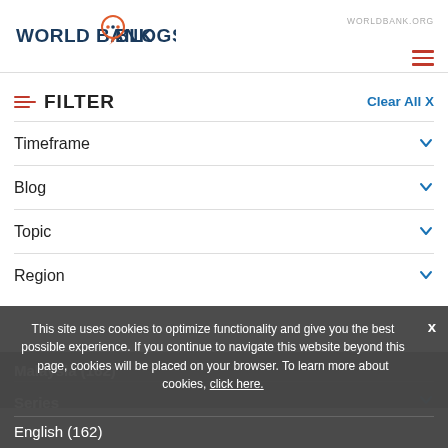WORLDBANK.ORG  WORLD BANK BLOGS
FILTER  Clear All X
Timeframe
Blog
Topic
Region
Malaysia (162)
Series
English (162)
This site uses cookies to optimize functionality and give you the best possible experience. If you continue to navigate this website beyond this page, cookies will be placed on your browser. To learn more about cookies, click here.